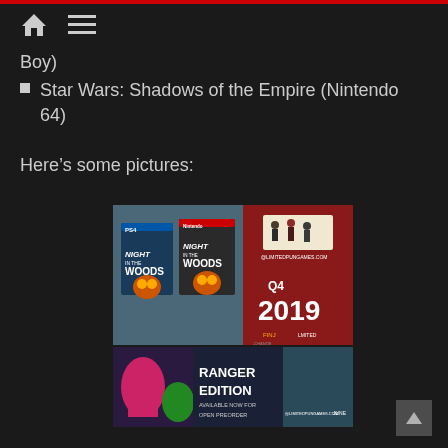Navigation bar with home and menu icons
Boy)
Star Wars: Shadows of the Empire (Nintendo 64)
Here's some pictures:
[Figure (photo): Night in the Woods PS4 and Nintendo Switch game covers alongside a Q4 2019 Limited Run Games announcement banner with characters on a box]
[Figure (photo): Ranger Edition available now for open preorder banner from limitedRungames.com]